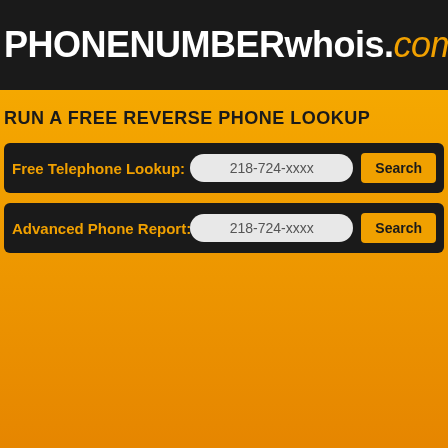PHONENUMBERwhois.com
RUN A FREE REVERSE PHONE LOOKUP
Free Telephone Lookup: 218-724-xxxx Search
Advanced Phone Report: 218-724-xxxx Search
Information for phone number: 218-724-XXX
State: Minnesota
County: Saint Louis
City: Floodwood Palo Alborn Brookston Virginia Cotton Embarrass Brimson Cook Cra...